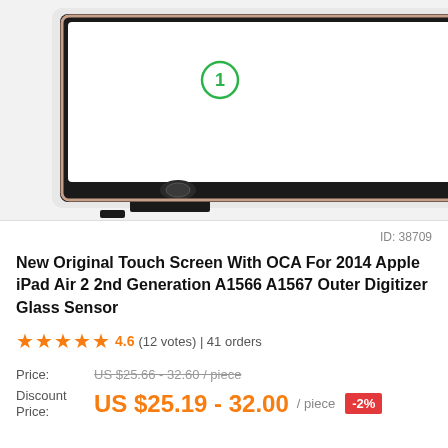[Figure (photo): Product photo showing iPad Air 2 touch screen digitizer with OCA, labeled item 1 (screen panel), item 3 (free tools set: screwdrivers and pry tools), and item 4 (adhesive tape strip). 'Free Tools' text visible at top right.]
ID: 38709
New Original Touch Screen With OCA For 2014 Apple iPad Air 2 2nd Generation A1566 A1567 Outer Digitizer Glass Sensor
★★★★★ 4.6 (12 votes) | 41 orders
Price: US $25.66 - 32.60 / piece
Discount Price: US $25.19 - 32.00 / piece -2%